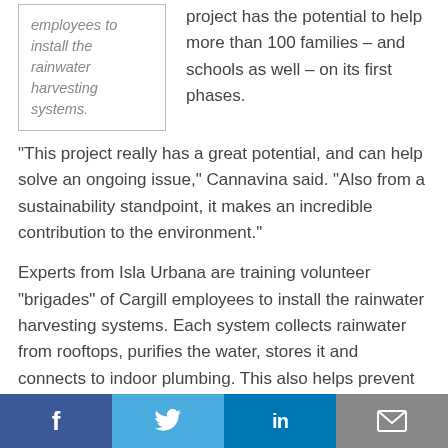employees to install the rainwater harvesting systems.
project has the potential to help more than 100 families – and schools as well – on its first phases.
“This project really has a great potential, and can help solve an ongoing issue,” Cannavina said. “Also from a sustainability standpoint, it makes an incredible contribution to the environment.”
Experts from Isla Urbana are training volunteer “brigades” of Cargill employees to install the rainwater harvesting systems. Each system collects rainwater from rooftops, purifies the water, stores it and connects to indoor plumbing. This also helps prevent flooding in the city.
Facebook | Twitter | LinkedIn | Email